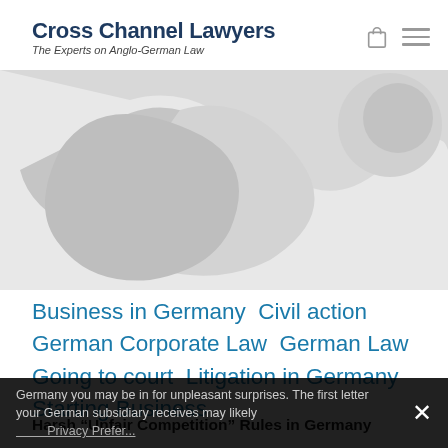Cross Channel Lawyers
The Experts on Anglo-German Law
[Figure (photo): Abstract grey sculptural shapes, partially cropped at top of page]
Business in Germany  Civil action  German Corporate Law  German Law  Going to court  Litigation in Germany  Starting Business
Harsh “Unfair Competition” Rules in Germany
The German Habit of sending out Cease and Desist Letters to Competitors When you start trading in Germany you may be in for unpleasant surprises. The first letter your German subsidiary receives may likely
× Privacy Preferences